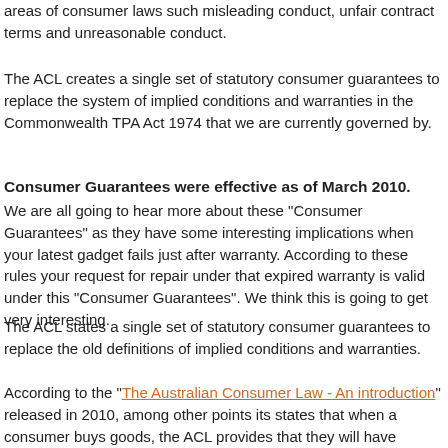areas of consumer laws such misleading conduct, unfair contract terms and unreasonable conduct.
The ACL creates a single set of statutory consumer guarantees to replace the system of implied conditions and warranties in the Commonwealth TPA Act 1974 that we are currently governed by.
Consumer Guarantees were effective as of March 2010.
We are all going to hear more about these "Consumer Guarantees" as they have some interesting implications when your latest gadget fails just after warranty. According to these rules your request for repair under that expired warranty is valid under this "Consumer Guarantees". We think this is going to get very interesting.
The ACL states a single set of statutory consumer guarantees to replace the old definitions of implied conditions and warranties.
According to the "The Australian Consumer Law - An introduction" released in 2010, among other points its states that when a consumer buys goods, the ACL provides that they will have guaranteed rights that: